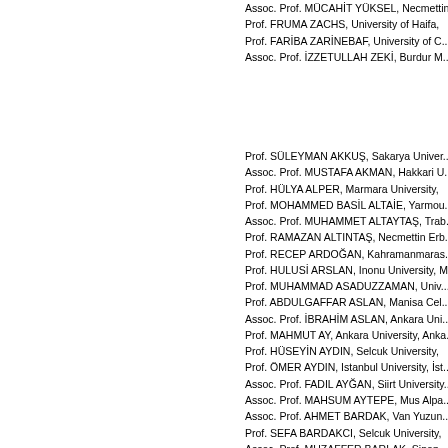Assoc. Prof. MÜCAHİT YÜKSEL, Necmettin...
Prof. FRUMA ZACHS, University of Haifa,
Prof. FARİBA ZARİNEBAF, University of C...
Assoc. Prof. İZZETULLAH ZEKİ, Burdur M...
Prof. SÜLEYMAN AKKUŞ, Sakarya Univer...
Assoc. Prof. MUSTAFA AKMAN, Hakkari U...
Prof. HÜLYA ALPER, Marmara University,
Prof. MOHAMMED BASİL ALTAİE, Yarmou...
Assoc. Prof. MUHAMMET ALTAYTAŞ, Trab...
Prof. RAMAZAN ALTINTAŞ, Necmettin Erb...
Prof. RECEP ARDOĞAN, Kahramanmaras...
Prof. HULUSİ ARSLAN, Inonu University, M...
Prof. MUHAMMAD ASADUZZAMAN, Univ...
Prof. ABDULGAFFAR ASLAN, Manisa Cel...
Assoc. Prof. İBRAHİM ASLAN, Ankara Uni...
Prof. MAHMUT AY, Ankara University, Anka...
Prof. HÜSEYİN AYDIN, Selcuk University,
Prof. ÖMER AYDIN, Istanbul University, İst...
Assoc. Prof. FADIL AYĞAN, Siirt University...
Assoc. Prof. MAHSUM AYTEPE, Mus Alpa...
Assoc. Prof. AHMET BARDAK, Van Yuzun...
Prof. SEFA BARDAKCI, Selcuk University,
Assoc. Prof. MUZAFFER BARLAK, Sinop ...
Assoc. Prof. MOHD FAUZI BIN HAMAT, U...
Assoc. Prof. WAN ZAILAN KAMARUDDIN...
Prof. RAMAZAN BİÇER, Sakarya Univers...